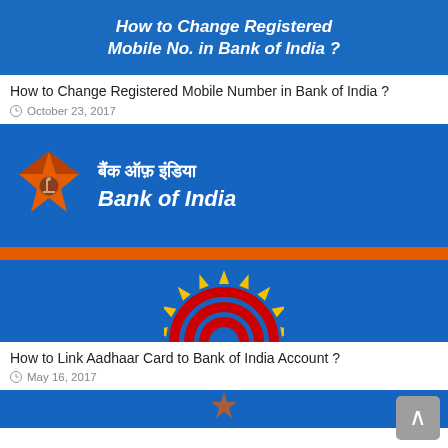[Figure (illustration): Blue banner image with text 'How to Change Registered Mobile No. in Bank of India?' in white bold italic font on blue background]
How to Change Registered Mobile Number in Bank of India ?
October 23, 2017
[Figure (illustration): Bank of India logo banner: blue background with orange star logo on the left, Hindi text 'बैंक ऑफ़ इंडिया' and English text 'Bank of India' on the right, orange horizontal stripe dividing top and bottom halves, Aadhaar logo (yellow sun rays with red arcs) in the lower section]
How to Link Aadhaar Card to Bank of India Account ?
May 16, 2017
[Figure (illustration): Partial blue banner at the bottom of the page, partially cut off]